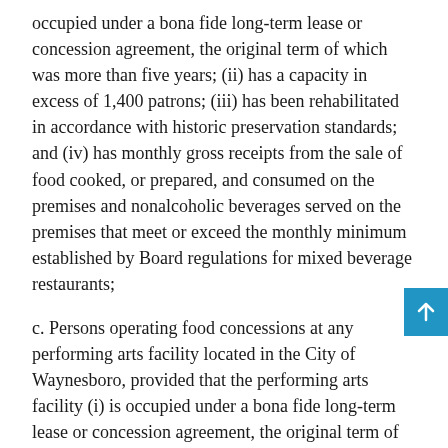occupied under a bona fide long-term lease or concession agreement, the original term of which was more than five years; (ii) has a capacity in excess of 1,400 patrons; (iii) has been rehabilitated in accordance with historic preservation standards; and (iv) has monthly gross receipts from the sale of food cooked, or prepared, and consumed on the premises and nonalcoholic beverages served on the premises that meet or exceed the monthly minimum established by Board regulations for mixed beverage restaurants;
c. Persons operating food concessions at any performing arts facility located in the City of Waynesboro, provided that the performing arts facility (i) is occupied under a bona fide long-term lease or concession agreement, the original term of which was more than five years; (ii) has a total capacity in excess of 550 patrons; and (iii) has been rehabilitated in accordance with historic preservation standards;